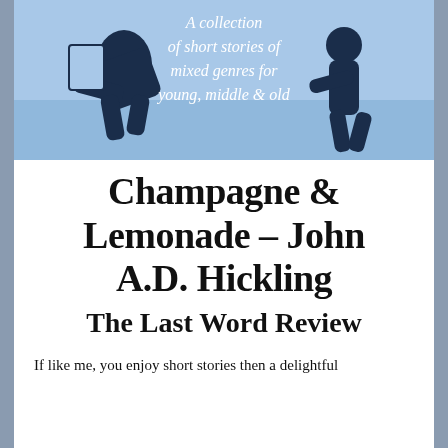[Figure (illustration): Book cover illustration: light blue background with dark navy blue silhouettes of figures. Center text in white italic reads 'A collection of short stories of mixed genres for young, middle & old'.]
Champagne & Lemonade – John A.D. Hickling
The Last Word Review
If like me, you enjoy short stories then a delightful